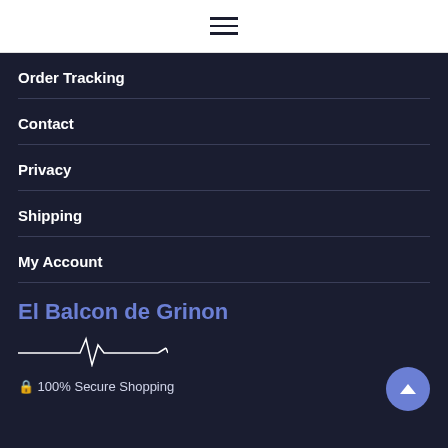☰ (hamburger menu icon)
Order Tracking
Contact
Privacy
Shipping
My Account
El Balcon de Grinon
[Figure (illustration): Heartbeat/EKG line graphic]
🔒 100% Secure Shopping